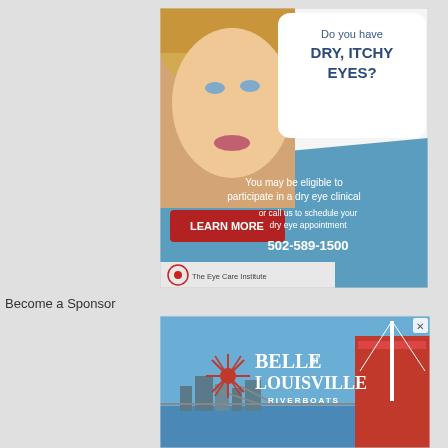[Figure (illustration): Advertisement for The Eye Care Institute showing a blonde woman's face on the left, with text 'Do you have DRY, ITCHY EYES?' on a white speech-bubble area, blue lower section reading 'You may be eligible to participate in a dry eye clinical', a red LEARN MORE button, text 'or call us to schedule your dry eye appointment', and phone number '502-589-1500'. The Eye Care Institute logo is in the bottom left.]
Become a Sponsor
[Figure (illustration): Advertisement for Belle of Louisville Riverboats showing their logo with a red paddlewheel sun design, white text 'Belle of Louisville Riverboats' on a blue sky background, with a city skyline and a red paddlewheel boat visible. Close (X) button in top right.]